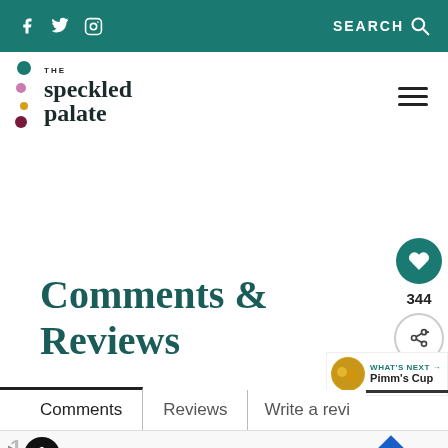f  Twitter  Instagram   SEARCH
[Figure (logo): The Speckled Palate logo with colorful dots and serif wordmark]
Comments & Reviews
[Figure (other): Heart button with count 344 and share button floating on right side]
WHAT'S NEXT → Pimm's Cup
Comments  |  Reviews  |  Write a review
[Figure (other): Advertisement bar: In-store shopping]